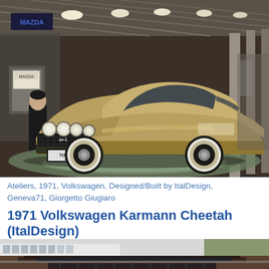[Figure (photo): A gold/bronze Toyota SV-1 concept car displayed at what appears to be an auto show (Tokyo Motor Show), with a man standing in the background near Mazda signage. The car has quad round headlights and a Toyota SV-1 front license plate area.]
Ateliers, 1971, Volkswagen, Designed/Built by ItalDesign, Geneva71, Giorgetto Giugiaro
1971 Volkswagen Karmann Cheetah (ItalDesign)
[Figure (photo): Partial view of a car at the bottom of the page, appears to be a dark colored vehicle photographed outdoors near a building.]